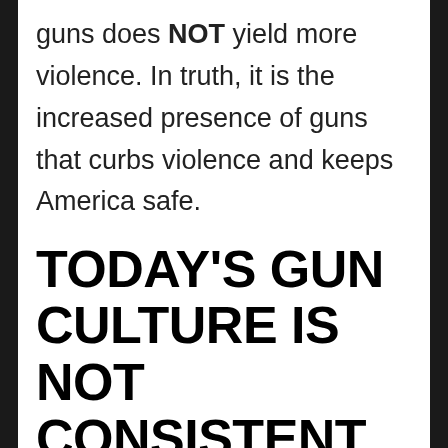guns does NOT yield more violence. In truth, it is the increased presence of guns that curbs violence and keeps America safe.
TODAY'S GUN CULTURE IS NOT CONSISTENT WITH THE 2ND